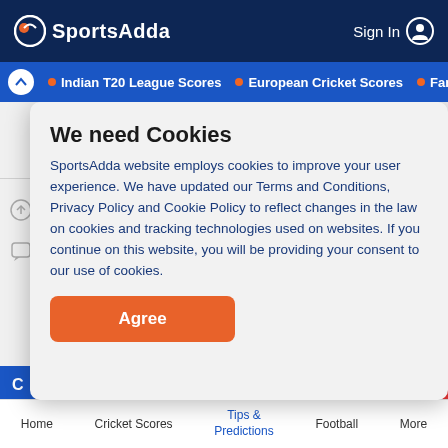SportsAdda   Sign In
Indian T20 League Scores • European Cricket Scores • Fantasy C
[Figure (screenshot): SportsAdda website background with ad placeholder, tab pills, and blue bar]
We need Cookies
SportsAdda website employs cookies to improve your user experience. We have updated our Terms and Conditions, Privacy Policy and Cookie Policy to reflect changes in the law on cookies and tracking technologies used on websites. If you continue on this website, you will be providing your consent to our use of cookies.
Agree
Home   Cricket Scores   Tips & Predictions   Football   More